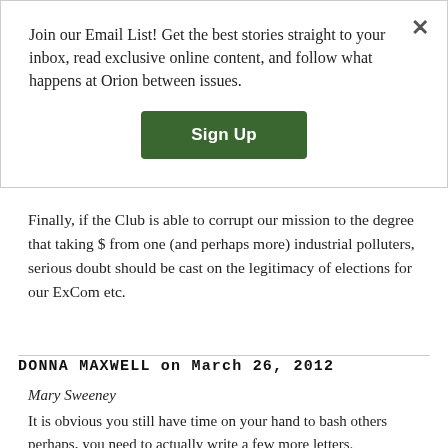Join our Email List! Get the best stories straight to your inbox, read exclusive online content, and follow what happens at Orion between issues.
Sign Up
get out of it (as more and more would like).
Finally, if the Club is able to corrupt our mission to the degree that taking $ from one (and perhaps more) industrial polluters, serious doubt should be cast on the legitimacy of elections for our ExCom etc.
DONNA MAXWELL on March 26, 2012
Mary Sweeney
It is obvious you still have time on your hand to bash others perhaps, you need to actually write a few more letters.